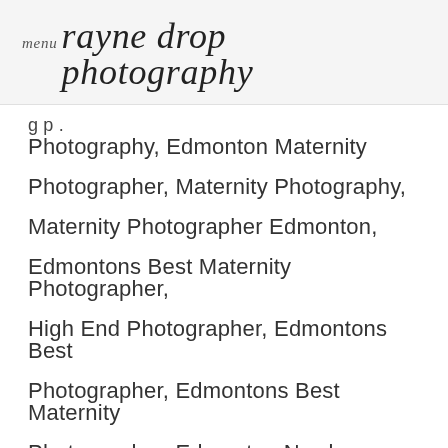menu rayne drop photography
g p .
Photography, Edmonton Maternity Photographer, Maternity Photography, Maternity Photographer Edmonton, Edmontons Best Maternity Photographer, High End Photographer, Edmontons Best Photographer, Edmontons Best Maternity Photographer, Edmonton Newborn Photographer, Best Edmonton Newborn